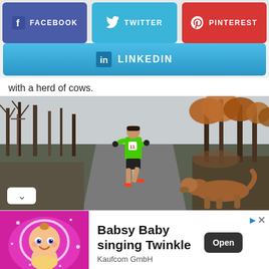[Figure (other): Social media share buttons: Facebook (purple), Twitter (blue), Pinterest (red)]
[Figure (other): LinkedIn share button (blue gradient)]
with a herd of cows.
[Figure (photo): A runner in a green shirt running on a road through bare winter trees with a dog visible in the foreground right]
[Figure (other): Advertisement: Babsy Baby singing Twinkle - Kaufcom GmbH, with animated baby image and Open button]